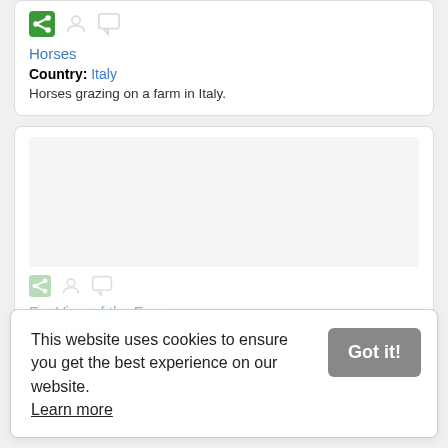[Figure (screenshot): Share, user, and comment icons row for first card]
Horses
Country: Italy
Horses grazing on a farm in Italy.
[Figure (photo): Second card with image area (blank/loading)]
Far View of the Farm
Country: Italy
Horses grazing on a farm in Italy.
This website uses cookies to ensure you get the best experience on our website. Learn more
Got it!